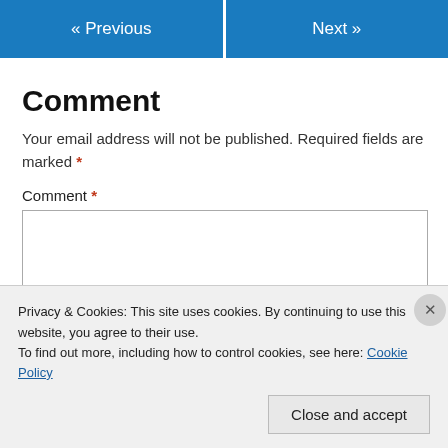« Previous   Next »
Comment
Your email address will not be published. Required fields are marked *
Comment *
Privacy & Cookies: This site uses cookies. By continuing to use this website, you agree to their use.
To find out more, including how to control cookies, see here: Cookie Policy
Close and accept